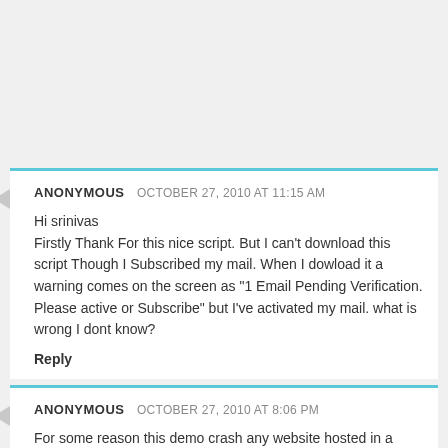ANONYMOUS  OCTOBER 27, 2010 AT 11:15 AM
Hi srinivas
Firstly Thank For this nice script. But I can't download this script Though I Subscribed my mail. When I dowload it a warning comes on the screen as "1 Email Pending Verification. Please active or Subscribe" but I've activated my mail. what is wrong I dont know?
Reply
ANONYMOUS  OCTOBER 27, 2010 AT 8:06 PM
For some reason this demo crash any website hosted in a basic Godaddy hosting.